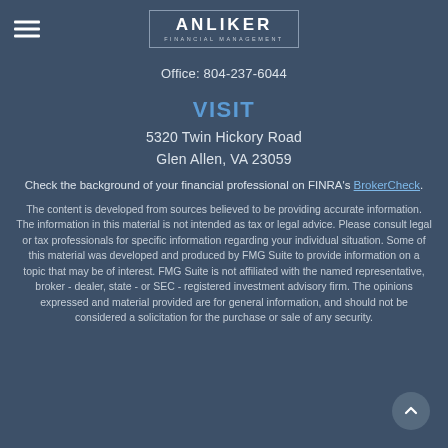ANLIKER FINANCIAL MANAGEMENT
Office: 804-237-6044
VISIT
5320 Twin Hickory Road
Glen Allen, VA 23059
Check the background of your financial professional on FINRA's BrokerCheck.
The content is developed from sources believed to be providing accurate information. The information in this material is not intended as tax or legal advice. Please consult legal or tax professionals for specific information regarding your individual situation. Some of this material was developed and produced by FMG Suite to provide information on a topic that may be of interest. FMG Suite is not affiliated with the named representative, broker - dealer, state - or SEC - registered investment advisory firm. The opinions expressed and material provided are for general information, and should not be considered a solicitation for the purchase or sale of any security.